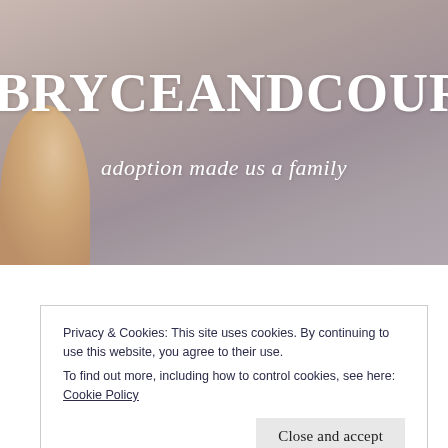[Figure (photo): Website header image with muted rose/taupe background texture and partial view of a child on the left side. Large bold white site title 'BRYCEANDCOURTN' (partially cropped) and italic white tagline 'adoption made us a family' overlaid on the image.]
BRYCEANDCOURTN
adoption made us a family
Privacy & Cookies: This site uses cookies. By continuing to use this website, you agree to their use.
To find out more, including how to control cookies, see here: Cookie Policy
Close and accept